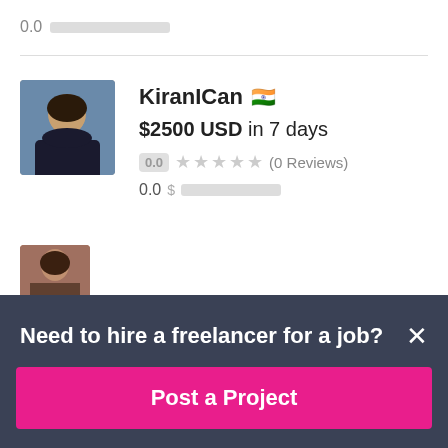0.0 [redacted]
KiranICan 🇮🇳
$2500 USD in 7 days
0.0 ★★★★★ (0 Reviews)
0.0 $ [redacted]
[Figure (photo): Profile photo of freelancer KiranICan, a woman with dark hair]
[Figure (photo): Partial profile photo of another freelancer at bottom]
Need to hire a freelancer for a job?
Post a Project